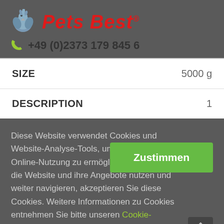[Figure (logo): Pets Best logo with bird icon and red italic bold text 'Pets Best' with registered trademark symbol]
+49 (0)2373 179 845 6
| SIZE | 5000 g |
| DESCRIPTION | 1 |
Diese Website verwendet Cookies und Website-Analyse-Tools, um eine optimale Online-Nutzung zu ermöglichen. Indem Sie die Website und ihre Angebote nutzen und weiter navigieren, akzeptieren Sie diese Cookies. Weitere Informationen zu Cookies entnehmen Sie bitte unseren Cookie-Richtlinien.